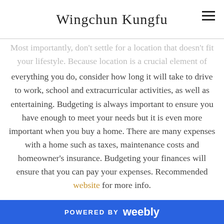Wingchun Kungfu
Most importantly, don't settle for a location that doesn't fit your lifestyle. Because location is a crucial element of everything you do, consider how long it will take to drive to work, school and extracurricular activities, as well as entertaining. Budgeting is always important to ensure you have enough to meet your needs but it is even more important when you buy a home. There are many expenses with a home such as taxes, maintenance costs and homeowner's insurance. Budgeting your finances will ensure that you can pay your expenses. Recommended website for more info.
In addition, because the home buying process is challenging and sometimes frustrating, you may want to talk with a professional real estate agent. Also, don't forget closing costs. Besides putting down a good down
POWERED BY weebly